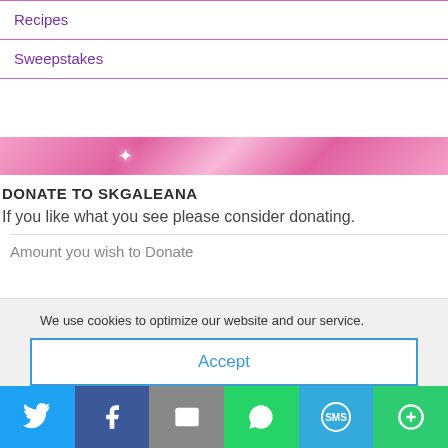Recipes
Sweepstakes
[Figure (illustration): Pink gradient banner with a white star sparkle in the center-left area]
DONATE TO SKGALEANA
If you like what you see please consider donating.
Amount you wish to Donate
We use cookies to optimize our website and our service.
Accept
[Figure (infographic): Social sharing bar with Twitter, Facebook, Email, WhatsApp, SMS, and More buttons]